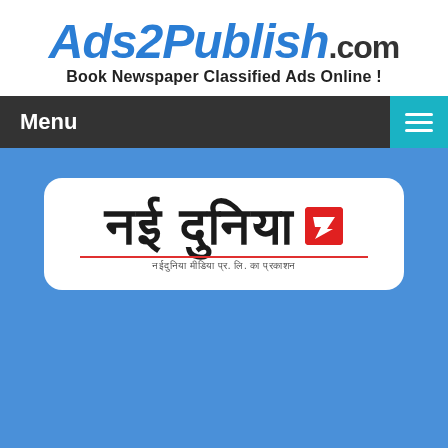[Figure (logo): Ads2Publish.com logo with tagline 'Book Newspaper Classified Ads Online!']
Menu
[Figure (logo): Nai Dunia newspaper logo in Hindi/Devanagari script with red icon and subtitle text]